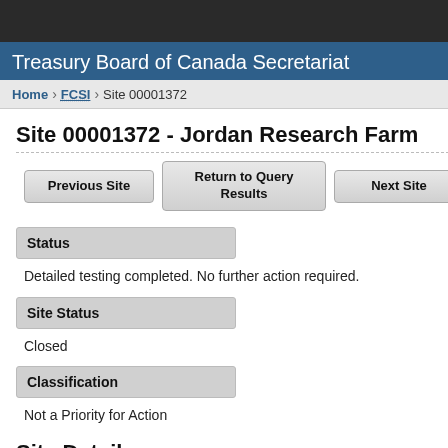Treasury Board of Canada Secretariat
Home > FCSI > Site 00001372
Site 00001372 - Jordan Research Farm
Previous Site | Return to Query Results | Next Site
Status
Detailed testing completed. No further action required.
Site Status
Closed
Classification
Not a Priority for Action
Site Details